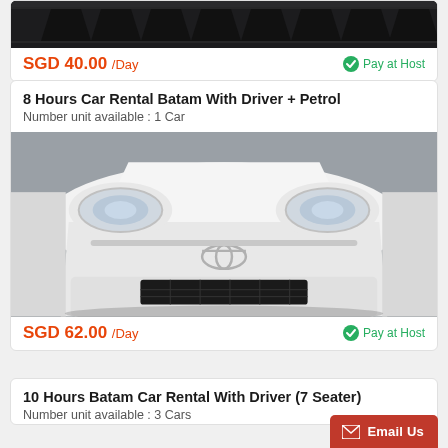[Figure (photo): Close-up of a car front grille, dark/black colored grille with angular design]
SGD 40.00 /Day
Pay at Host
8 Hours Car Rental Batam With Driver + Petrol
Number unit available : 1 Car
[Figure (photo): Close-up of front of a white Toyota car showing headlights and grille]
SGD 62.00 /Day
Pay at Host
10 Hours Batam Car Rental With Driver (7 Seater)
Number unit available : 3 Cars
Email Us